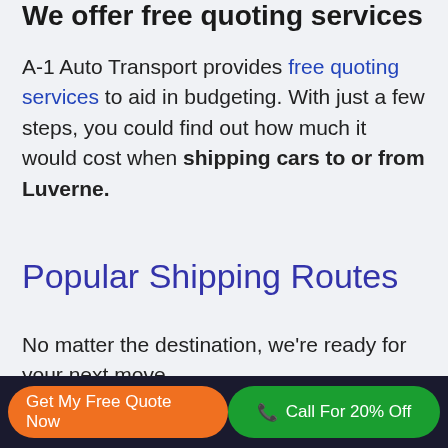We offer free quoting services
A-1 Auto Transport provides free quoting services to aid in budgeting. With just a few steps, you could find out how much it would cost when shipping cars to or from Luverne.
Popular Shipping Routes
No matter the destination, we're ready for your next move.
Here's our most popular routes from Luverne, AL, 36049, USA
Get My Free Quote Now | Call For 20% Off